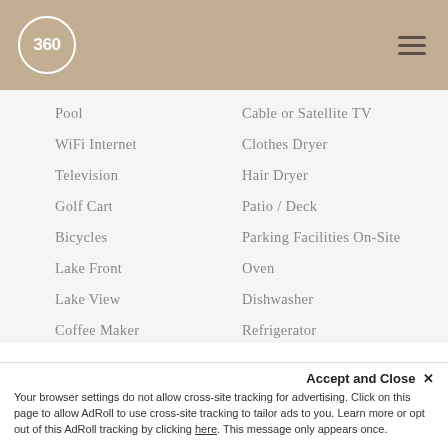360
Pool
Cable or Satellite TV
WiFi Internet
Clothes Dryer
Television
Hair Dryer
Golf Cart
Patio / Deck
Bicycles
Parking Facilities On-Site
Lake Front
Oven
Lake View
Dishwasher
Coffee Maker
Refrigerator
Linens
Stove
Fully Equipped Kitchen
Toaster
Accept and Close ✕ Your browser settings do not allow cross-site tracking for advertising. Click on this page to allow AdRoll to use cross-site tracking to tailor ads to you. Learn more or opt out of this AdRoll tracking by clicking here. This message only appears once.